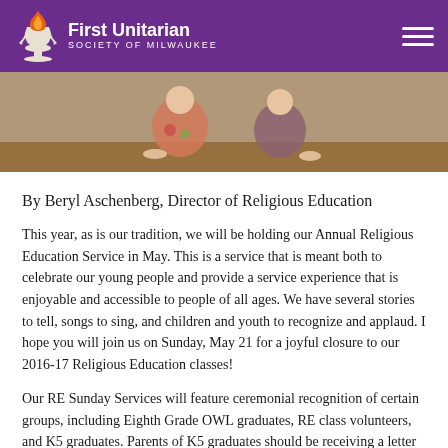First Unitarian Society of Milwaukee
[Figure (photo): Photo of children sitting on the floor, partially visible, cropped at the top of the page]
By Beryl Aschenberg, Director of Religious Education
This year, as is our tradition, we will be holding our Annual Religious Education Service in May. This is a service that is meant both to celebrate our young people and provide a service experience that is enjoyable and accessible to people of all ages. We have several stories to tell, songs to sing, and children and youth to recognize and applaud. I hope you will join us on Sunday, May 21 for a joyful closure to our 2016-17 Religious Education classes!
Our RE Sunday Services will feature ceremonial recognition of certain groups, including Eighth Grade OWL graduates, RE class volunteers, and K5 graduates. Parents of K5 graduates should be receiving a letter soon inviting their child’s participation. You can also expect to hear several of our high